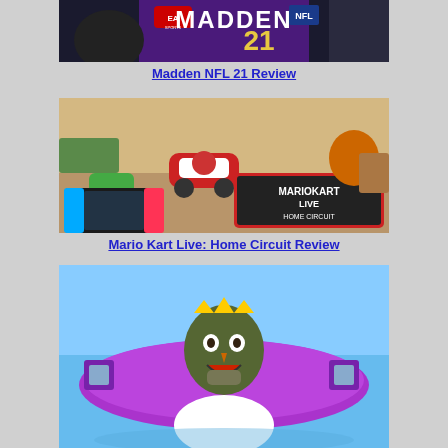[Figure (photo): Madden NFL 21 game cover art showing a football player in purple jersey, with EA Sports and NFL logos]
Madden NFL 21 Review
[Figure (photo): Mario Kart Live: Home Circuit promotional image showing toy karts on a living room floor and Nintendo Switch handheld]
Mario Kart Live: Home Circuit Review
[Figure (photo): Animated/illustrated game character wearing a crown on a skateboard against a blue sky background]